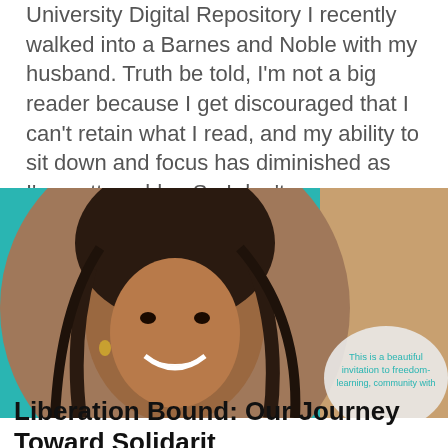University Digital Repository I recently walked into a Barnes and Noble with my husband. Truth be told, I'm not a big reader because I get discouraged that I can't retain what I read, and my ability to sit down and focus has diminished as I've gotten older. So I don't
[Figure (photo): Portrait photo of a smiling Black woman with locs, wearing earrings, against a teal and beige background with a circular crop. A semi-transparent speech bubble in the lower right reads: 'This is a beautiful invitation to freedom-']
Liberation Bound: Our Journey Toward Solidarity